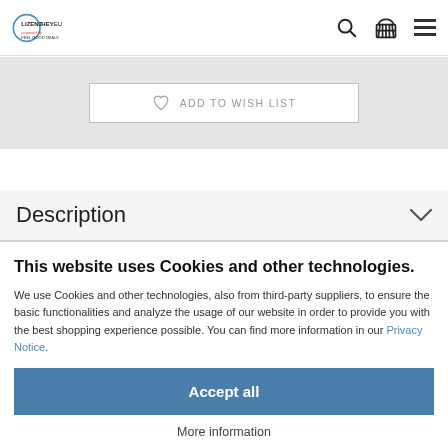LIZENZHEY.EU
ADD TO WISH LIST
Description
This website uses Cookies and other technologies.
We use Cookies and other technologies, also from third-party suppliers, to ensure the basic functionalities and analyze the usage of our website in order to provide you with the best shopping experience possible. You can find more information in our Privacy Notice.
Accept all
More information